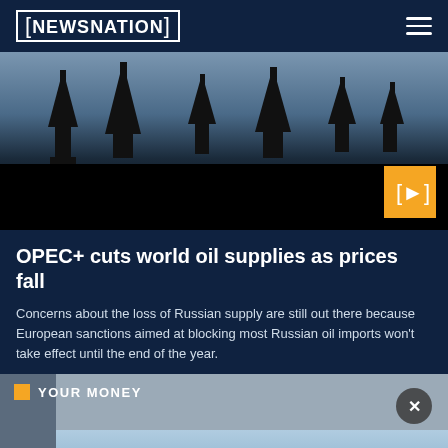[NEWSNATION]
[Figure (photo): Silhouettes of oil derricks/pump jacks against a dusky sky with a video play button overlay]
OPEC+ cuts world oil supplies as prices fall
Concerns about the loss of Russian supply are still out there because European sanctions aimed at blocking most Russian oil imports won't take effect until the end of the year.
YOUR MONEY
[Figure (photo): Partially visible image below YOUR MONEY section header showing trees against sky]